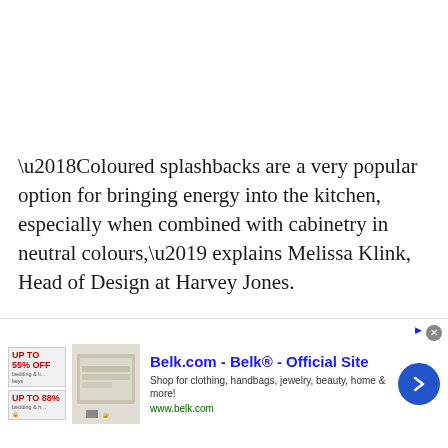‘Coloured splashbacks are a very popular option for bringing energy into the kitchen, especially when combined with cabinetry in neutral colours,’ explains Melissa Klink, Head of Design at Harvey Jones.
‘The expanding market has allowed customers to bring block shades of oranges and reds into the kitchen as accent colours, helping you to create a
[Figure (other): Advertisement banner for Belk.com - Belk Official Site. Shows two small promotional badges on the left, a product image of bedding/home goods, text 'Belk.com - Belk® - Official Site', subtitle 'Shop for clothing, handbags, jewelry, beauty, home & more!', URL 'www.belk.com', a blue circular arrow button on the right, and a close X button.]